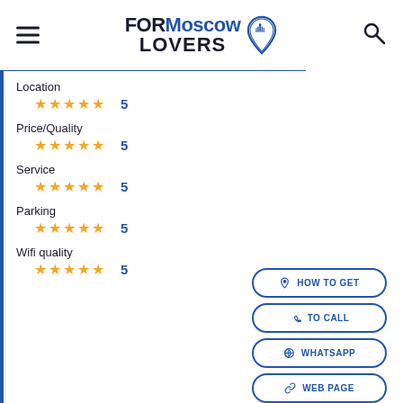[Figure (logo): FORMoscow LOVERS logo with location pin icon]
Location
★★★★★  5
Price/Quality
★★★★★  5
Service
★★★★★  5
Parking
★★★★★  5
Wifi quality
★★★★★  5
HOW TO GET
TO CALL
WHATSAPP
WEB PAGE